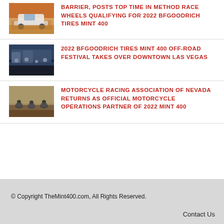BARRIER, POSTS TOP TIME IN METHOD RACE WHEELS QUALIFYING FOR 2022 BFGOODRICH TIRES MINT 400
[Figure (photo): Off-road truck racing in desert, orange and white truck]
2022 BFGOODRICH TIRES MINT 400 OFF-ROAD FESTIVAL TAKES OVER DOWNTOWN LAS VEGAS
[Figure (photo): Crowd and vehicles at outdoor event in urban setting]
MOTORCYCLE RACING ASSOCIATION OF NEVADA RETURNS AS OFFICIAL MOTORCYCLE OPERATIONS PARTNER OF 2022 MINT 400
[Figure (photo): Motorcycle racers on dirt track]
© Copyright TheMint400.com, All Rights Reserved.    Contact Us